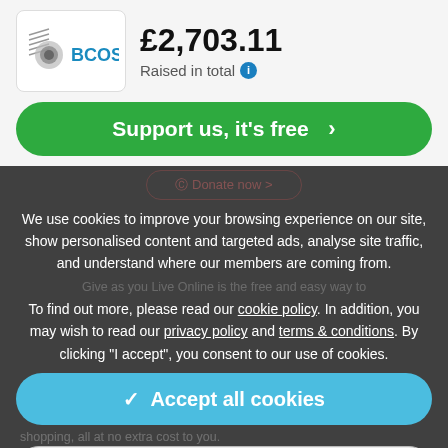[Figure (logo): BCOS logo with musical note/headphone icon in grey and teal text]
£2,703.11
Raised in total ℹ
Support us, it's free  >
We use cookies to improve your browsing experience on our site, show personalised content and targeted ads, analyse site traffic, and understand where our members are coming from.
To find out more, please read our cookie policy. In addition, you may wish to read our privacy policy and terms & conditions. By clicking "I accept", you consent to our use of cookies.
✓  Accept all cookies
⚙  Manage settings
shopping, all at no extra cost to you.
Simply sign up for an account and start shopping to